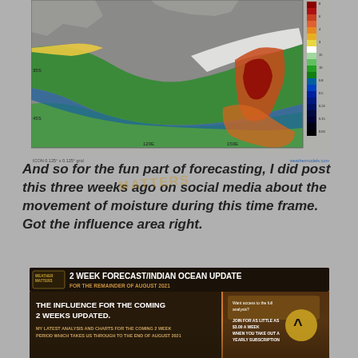[Figure (map): Weather map showing moisture movement with color scale (green, blue, orange, red) over ocean regions, with latitude/longitude grid labels (35S, 45S, 120E, 150E). Color bar on right side. Labels: ICON 0.125 x 0.125 grid, weathermodels.com]
And so for the fun part of forecasting, I did post this three weeks ago on social media about the movement of moisture during this time frame.   Got the influence area right.
[Figure (infographic): Weather Matters branded banner: '2 WEEK FORECAST/INDIAN OCEAN UPDATE FOR THE REMAINDER OF AUGUST 2021'. Below: 'THE INFLUENCE FOR THE COMING 2 WEEKS UPDATED.' and 'MY LATEST ANALYSIS AND CHARTS FOR THE COMING 2 WEEK PERIOD WHICH TAKES US THROUGH TO THE END OF AUGUST 2021'. Right side panel with join/subscription info. Orange/dark background with desert imagery.]